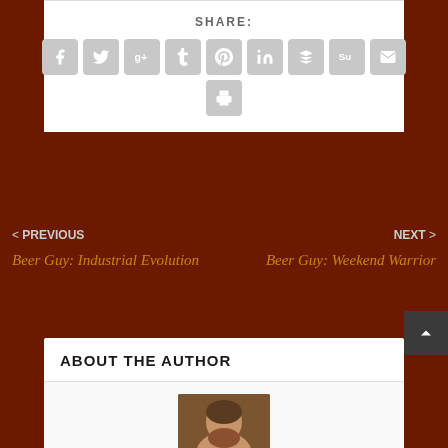SHARE:
[Figure (infographic): Row of social sharing icon buttons: Facebook, Twitter, Google+, Tumblr, Pinterest, LinkedIn, Buffer, StumbleUpon, Email, and a print button below]
< PREVIOUS
Beer Guy: Industrial Evolution
NEXT >
Beer Guy: Weekend Warrior
ABOUT THE AUTHOR
[Figure (photo): Photo of the author, an older bearded man holding a drink]